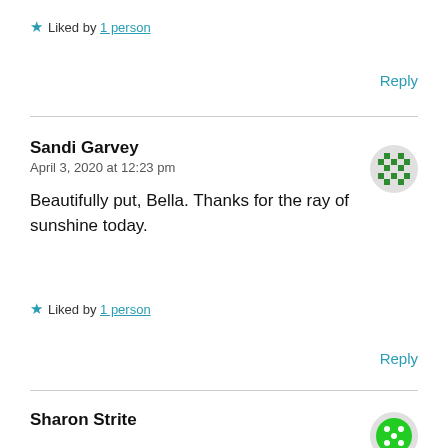★ Liked by 1 person
Reply
Sandi Garvey
April 3, 2020 at 12:23 pm
Beautifully put, Bella. Thanks for the ray of sunshine today.
★ Liked by 1 person
Reply
Sharon Strite